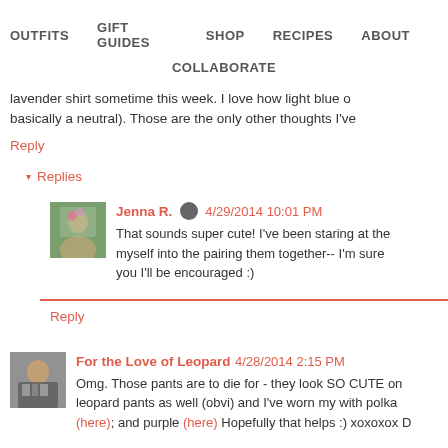OUTFITS   GIFT GUIDES   SHOP   RECIPES   ABOUT   COLLABORATE
lavender shirt sometime this week. I love how light blue o basically a neutral). Those are the only other thoughts I've
Reply
▾ Replies
Jenna R. 4/29/2014 10:01 PM
That sounds super cute! I've been staring at the myself into the pairing them together-- I'm sure you I'll be encouraged :)
Reply
For the Love of Leopard 4/28/2014 2:15 PM
Omg. Those pants are to die for - they look SO CUTE on leopard pants as well (obvi) and I've worn my with polka (here); and purple (here) Hopefully that helps :) xoxoxox D